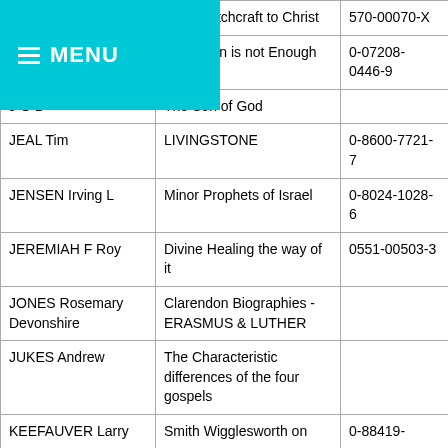| Author | Title | ISBN |
| --- | --- | --- |
|  | From Witchcraft to Christ | 570-00070-X |
|  | The Moon is not Enough | 0-07208-0446-9 |
| J G B | The Son of God |  |
| JEAL Tim | LIVINGSTONE | 0-8600-7721-7 |
| JENSEN Irving L | Minor Prophets of Israel | 0-8024-1028-6 |
| JEREMIAH F Roy | Divine Healing the way of it | 0551-00503-3 |
| JONES Rosemary Devonshire | Clarendon Biographies - ERASMUS & LUTHER |  |
| JUKES Andrew | The Characteristic differences of the four gospels |  |
| KEEFAUVER Larry | Smith Wigglesworth on ... | 0-88419-... |